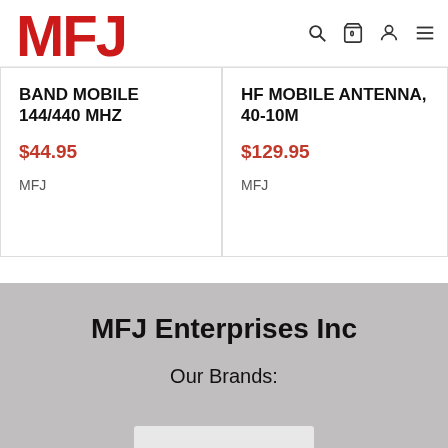MFJ
BAND MOBILE 144/440 MHz
$44.95
MFJ
HF MOBILE ANTENNA, 40-10M
$129.95
MFJ
MFJ Enterprises Inc
Our Brands: